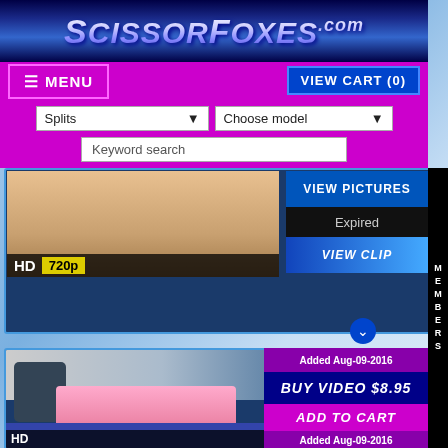ScissorFoxes.com
MENU
VIEW CART (0)
Splits | Choose model | Keyword search
[Figure (screenshot): HD 720p video thumbnail showing a person]
Janira Wolfe
Xenia Onatopp: Orgasmic Assassination
Show More
VIEW PICTURES
Expired
VIEW CLIP
[Figure (screenshot): HD video thumbnail showing a woman in pink doing splits on a man]
Added Aug-09-2016
BUY VIDEO $8.95
ADD TO CART
Added Aug-09-2016
VIEW PictuRes
MEMBERS